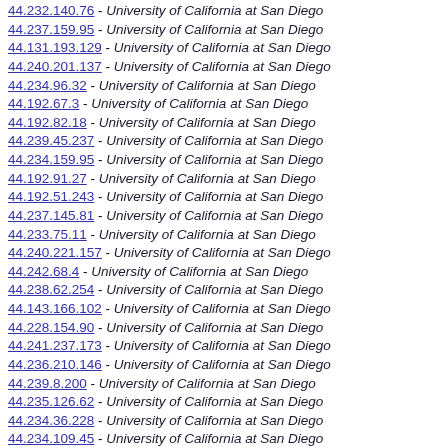44.232.140.76 - University of California at San Diego
44.237.159.95 - University of California at San Diego
44.131.193.129 - University of California at San Diego
44.240.201.137 - University of California at San Diego
44.234.96.32 - University of California at San Diego
44.192.67.3 - University of California at San Diego
44.192.82.18 - University of California at San Diego
44.239.45.237 - University of California at San Diego
44.234.159.95 - University of California at San Diego
44.192.91.27 - University of California at San Diego
44.192.51.243 - University of California at San Diego
44.237.145.81 - University of California at San Diego
44.233.75.11 - University of California at San Diego
44.240.221.157 - University of California at San Diego
44.242.68.4 - University of California at San Diego
44.238.62.254 - University of California at San Diego
44.143.166.102 - University of California at San Diego
44.228.154.90 - University of California at San Diego
44.241.237.173 - University of California at San Diego
44.236.210.146 - University of California at San Diego
44.239.8.200 - University of California at San Diego
44.235.126.62 - University of California at San Diego
44.234.36.228 - University of California at San Diego
44.234.109.45 - University of California at San Diego
44.242.173.109 - University of California at San Diego
44.239.132.68 - University of California at San Diego
44.233.220.156 - University of California at San Diego
44.237.143.79 - University of California at San Diego
44.235.155.91 - University of California at San Diego
44.234.126.62 - University of California at San Diego